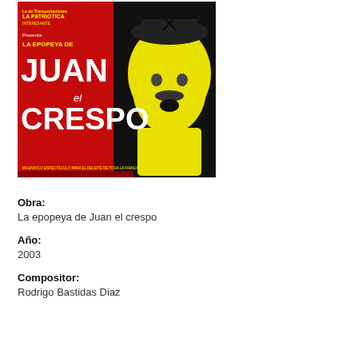[Figure (illustration): Movie/theater poster for 'La Epopeya de Juan el Crespo' with bold yellow and red design, featuring a figure in a hat and text in Spanish.]
Obra:
La epopeya de Juan el crespo
Año:
2003
Compositor:
Rodrigo Bastidas Diaz